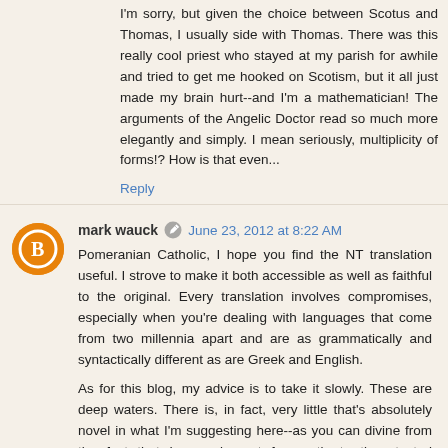I'm sorry, but given the choice between Scotus and Thomas, I usually side with Thomas. There was this really cool priest who stayed at my parish for awhile and tried to get me hooked on Scotism, but it all just made my brain hurt--and I'm a mathematician! The arguments of the Angelic Doctor read so much more elegantly and simply. I mean seriously, multiplicity of forms!? How is that even...
Reply
mark wauck  June 23, 2012 at 8:22 AM
Pomeranian Catholic, I hope you find the NT translation useful. I strove to make it both accessible as well as faithful to the original. Every translation involves compromises, especially when you're dealing with languages that come from two millennia apart and are as grammatically and syntactically different as are Greek and English.
As for this blog, my advice is to take it slowly. These are deep waters. There is, in fact, very little that's absolutely novel in what I'm suggesting here--as you can divine from the fact that I appeal most frequently to time tested authors. Where I hope that I break